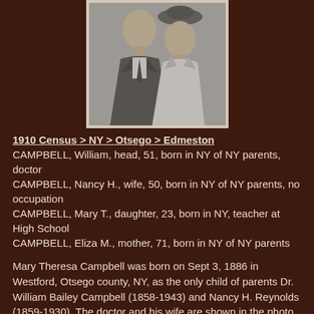[Figure (photo): Black and white photograph of a man and woman (Dr. William Bailey Campbell and Nancy H. Reynolds), shown from shoulders up, formal attire.]
1910 Census > NY > Otsego > Edmeston
CAMPBELL, William, head, 51, born in NY of NY parents, doctor
CAMPBELL, Nancy H., wife, 50, born in NY of NY parents, no occupation
CAMPBELL, Mary T., daughter, 23, born in NY, teacher at High School
CAMPBELL, Eliza M., mother, 71, born in NY of NY parents
Mary Theresa Campbell was born on Sept 3, 1886 in Westford, Otsego county, NY, as the only child of parents Dr. William Bailey Campbell (1858-1943) and Nancy H. Reynolds (1859-1930). The doctor and his wife are shown in the photo at left, which I found on Ancestry.com (I do not possess that image and only post it here for further